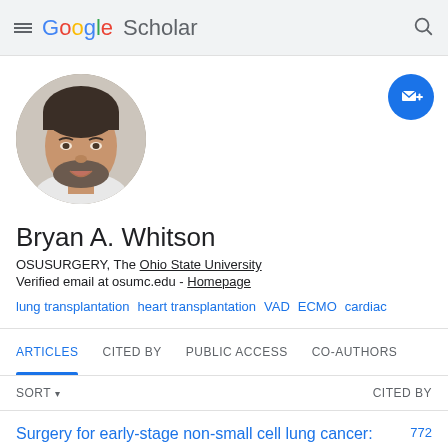Google Scholar
[Figure (photo): Circular profile photo of Bryan A. Whitson, a middle-aged man with short dark hair and beard, smiling.]
Bryan A. Whitson
OSUSURGERY, The Ohio State University
Verified email at osumc.edu - Homepage
lung transplantation
heart transplantation
VAD
ECMO
cardiac
ARTICLES   CITED BY   PUBLIC ACCESS   CO-AUTHORS
SORT ▾   CITED BY
Surgery for early-stage non-small cell lung cancer:   772